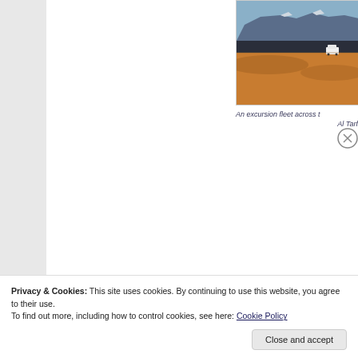[Figure (photo): A desert landscape with sand dunes and a vehicle (white SUV/truck) in the distance, with dramatic layered mountains and cliffs in the background under a blue sky.]
An excursion fleet across t… Al Tarf…
Privacy & Cookies: This site uses cookies. By continuing to use this website, you agree to their use. To find out more, including how to control cookies, see here: Cookie Policy